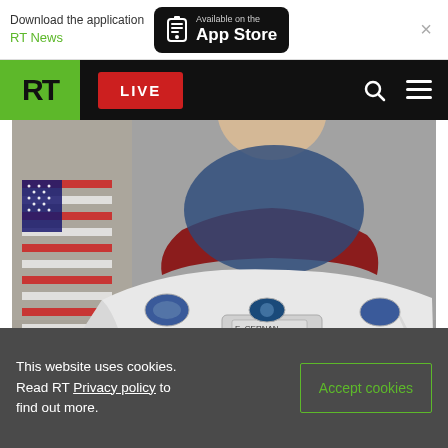Download the application RT News | Available on the App Store
[Figure (screenshot): RT News website navigation bar with green RT logo, red LIVE button, search icon, and hamburger menu on black background]
[Figure (photo): Astronaut in white NASA spacesuit with name tag E. Cernan, American flag in background, official portrait photo]
This website uses cookies. Read RT Privacy policy to find out more.
Accept cookies